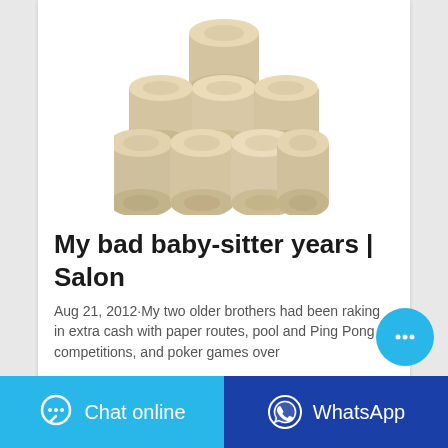[Figure (photo): Stack of toilet paper rolls arranged in a pyramid shape on a white background]
My bad baby-sitter years | Salon
Aug 21, 2012·My two older brothers had been raking in extra cash with paper routes, pool and Ping Pong competitions, and poker games over...
[Figure (other): Cyan chat bubble button (floating action button) with ellipsis icon]
[Figure (other): Bottom bar with two buttons: Chat online (cyan) and WhatsApp (dark blue)]